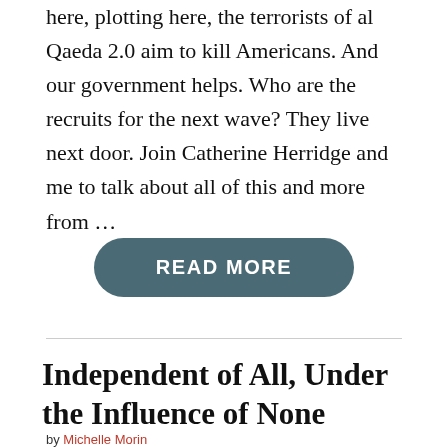here, plotting here, the terrorists of al Qaeda 2.0 aim to kill Americans. And our government helps. Who are the recruits for the next wave? They live next door. Join Catherine Herridge and me to talk about all of this and more from …
[Figure (other): READ MORE button — a rounded rectangle in dark teal/slate color with white bold uppercase text]
Independent of All, Under the Influence of None
by Michelle Morin
in Foreign Policy, USA Founding Principles